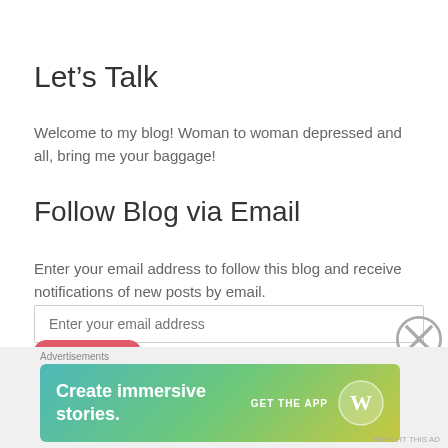Let’s Talk
Welcome to my blog! Woman to woman depressed and all, bring me your baggage!
Follow Blog via Email
Enter your email address to follow this blog and receive notifications of new posts by email.
Enter your email address
Follow
Advertisements
[Figure (other): WordPress advertisement banner: Create immersive stories. GET THE APP with WordPress logo.]